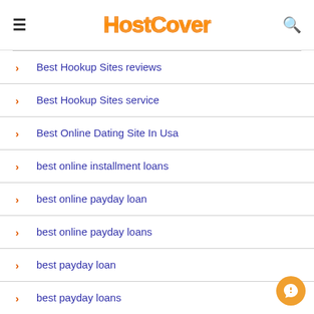HostCover
Best Hookup Sites reviews
Best Hookup Sites service
Best Online Dating Site In Usa
best online installment loans
best online payday loan
best online payday loans
best payday loan
best payday loans